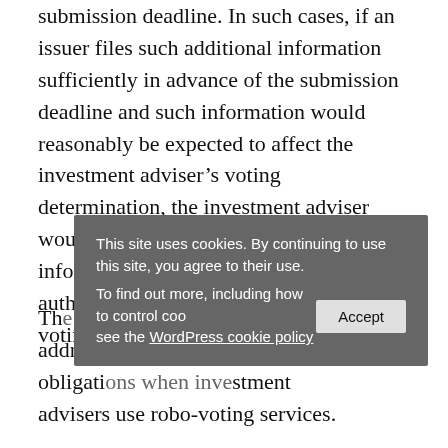submission deadline. In such cases, if an issuer files such additional information sufficiently in advance of the submission deadline and such information would reasonably be expected to affect the investment adviser’s voting determination, the investment adviser would likely need to consider such information prior to exercising voting authority in order to demonstrate that it is voting in its client’s best interest.”
This site uses cookies. By continuing to use this site, you agree to their use. To find out more, including how to control cookies, see the WordPress cookie policy
The supplemental guidance also addresses disclosure obligations when investment advisers use robo-voting services.